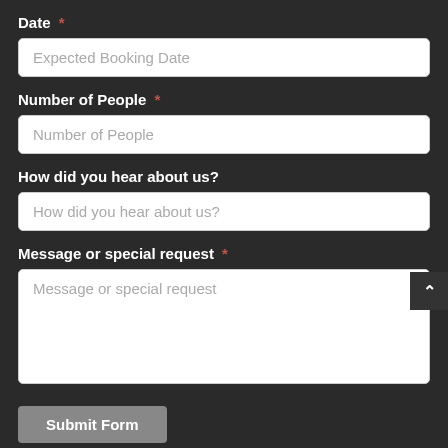Date *
Expected Booking Date
Number of People *
Number of People
How did you hear about us?
How did you hear about us?
Message or special request *
Message or special request
Submit Form